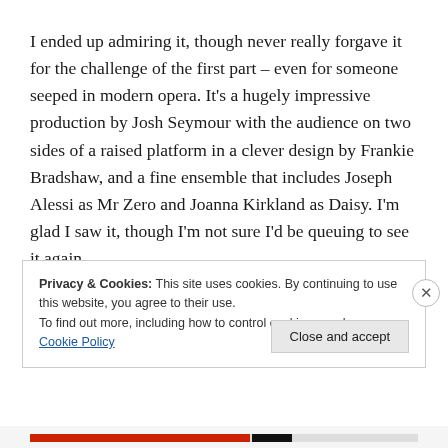I ended up admiring it, though never really forgave it for the challenge of the first part – even for someone seeped in modern opera. It's a hugely impressive production by Josh Seymour with the audience on two sides of a raised platform in a clever design by Frankie Bradshaw, and a fine ensemble that includes Joseph Alessi as Mr Zero and Joanna Kirkland as Daisy. I'm glad I saw it, though I'm not sure I'd be queuing to see it again.
Privacy & Cookies: This site uses cookies. By continuing to use this website, you agree to their use.
To find out more, including how to control cookies, see here: Cookie Policy
Close and accept